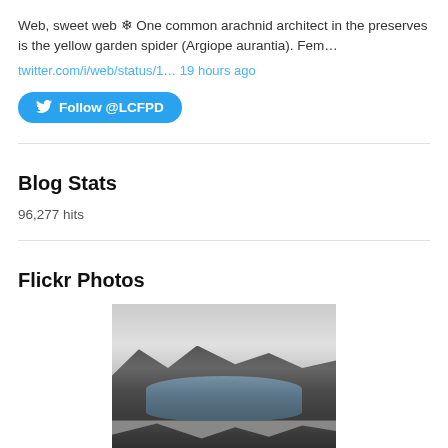Web, sweet web ❄ One common arachnid architect in the preserves is the yellow garden spider (Argiope aurantia). Fem…
twitter.com/i/web/status/1… 19 hours ago
Follow @LCFPD
Blog Stats
96,277 hits
Flickr Photos
[Figure (photo): Black and white photograph of a volcanic crater lake surrounded by mountains and cloudy sky]